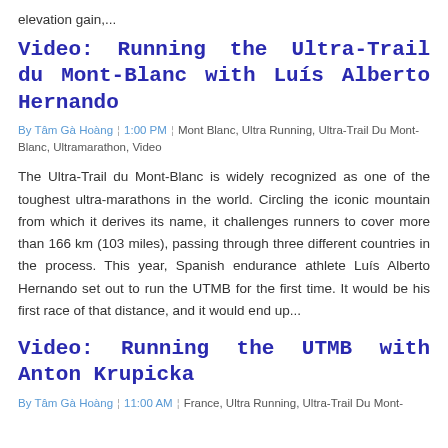elevation gain,...
Video: Running the Ultra-Trail du Mont-Blanc with Luís Alberto Hernando
By Tâm Gà Hoàng | 1:00 PM | Mont Blanc, Ultra Running, Ultra-Trail Du Mont-Blanc, Ultramarathon, Video
The Ultra-Trail du Mont-Blanc is widely recognized as one of the toughest ultra-marathons in the world. Circling the iconic mountain from which it derives its name, it challenges runners to cover more than 166 km (103 miles), passing through three different countries in the process. This year, Spanish endurance athlete Luís Alberto Hernando set out to run the UTMB for the first time. It would be his first race of that distance, and it would end up...
Video: Running the UTMB with Anton Krupicka
By Tâm Gà Hoàng | 11:00 AM | France, Ultra Running, Ultra-Trail Du Mont-